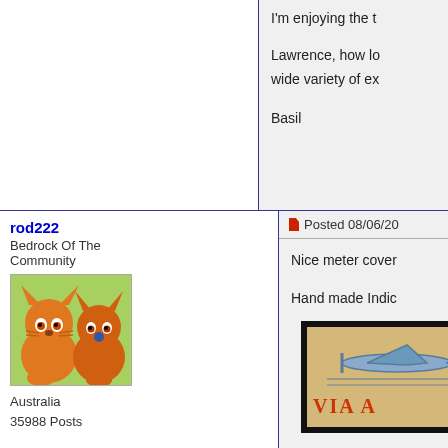I'm enjoying the t
Lawrence, how lo wide variety of ex
Basil
rod222
Bedrock Of The Community
Australia
35988 Posts
Posted 08/06/20
Nice meter cover
Hand made Indic
[Figure (illustration): Cartoon avatar showing two orange cats with angry expressions]
[Figure (photo): Framed vintage airmail label showing a plane silhouette and text VIA A]